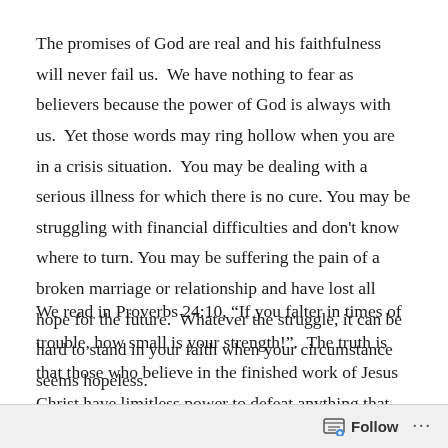The promises of God are real and his faithfulness will never fail us.  We have nothing to fear as believers because the power of God is always with us.  Yet those words may ring hollow when you are in a crisis situation.  You may be dealing with a serious illness for which there is no cure. You may be struggling with financial difficulties and don't know where to turn. You may be suffering the pain of a broken marriage or relationship and have lost all hope for the future.  Whatever the struggle, it can be hard to stand in your faith when your circumstance seems hopeless.
We read in Proverbs 24:10, “If you falter in times of trouble, how small is your strength!”.  The truth is that those who believe in the finished work of Jesus Christ have limitless power to defeat anything that comes against them.  In 1 John 5:4, we are told that everyone born of God overcomes the world.  The forces of evil cannot conquer a child of God. The devil himself knows that he is
Follow